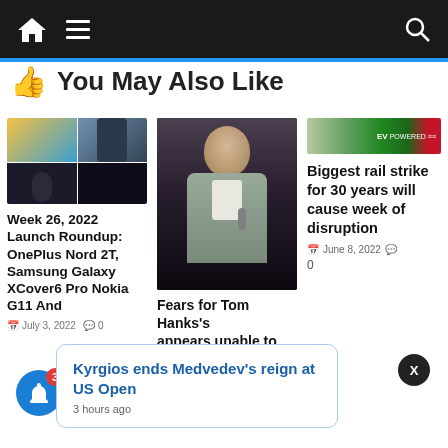Navigation bar with home, menu, and search icons
👍 You May Also Like
[Figure (photo): Grid of 4 smartphone/tech product images]
[Figure (photo): Photo of Tom Hanks speaking at a microphone]
[Figure (photo): EV-powered car banner image]
Week 26, 2022 Launch Roundup: OnePlus Nord 2T, Samsung Galaxy XCover6 Pro Nokia G11 And
Fears for Tom Hanks's
appears unable to
Biggest rail strike for 30 years will cause week of disruption
June 8, 2022  0
Kyrgios ends Medvedev's reign at US Open
3 hours ago
July 3, 2022  0